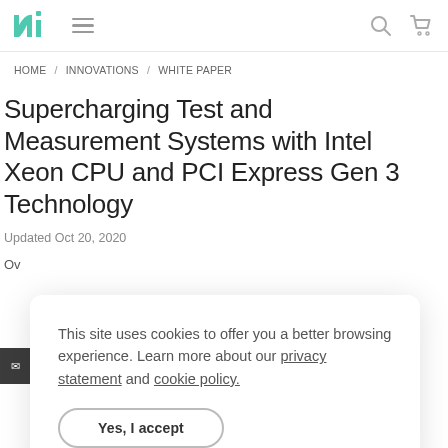NI logo, hamburger menu, search icon, cart icon
HOME / INNOVATIONS / WHITE PAPER
Supercharging Test and Measurement Systems with Intel Xeon CPU and PCI Express Gen 3 Technology
Updated Oct 20, 2020
Ov
Th
[Figure (other): Cookie consent banner overlay with text: 'This site uses cookies to offer you a better browsing experience. Learn more about our privacy statement and cookie policy.' with a 'Yes, I accept' button.]